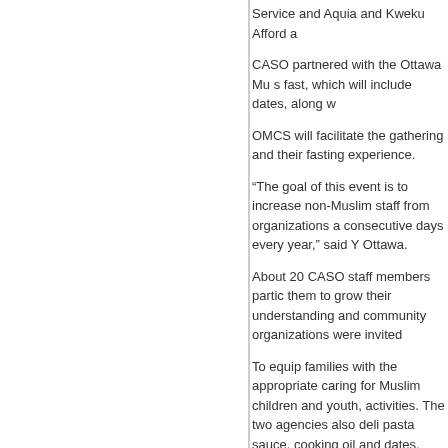Service and Aquia and Kweku Aforda
CASO partnered with the Ottawa Mus fast, which will include dates, along w
OMCS will facilitate the gathering and their fasting experience.
“The goal of this event is to increase non-Muslim staff from organizations a consecutive days every year,” said Y Ottawa.
About 20 CASO staff members partic them to grow their understanding and community organizations were invited
To equip families with the appropriate caring for Muslim children and youth, activities. The two agencies also deli pasta sauce, cooking oil and dates.
About The Children’s Aid Society o